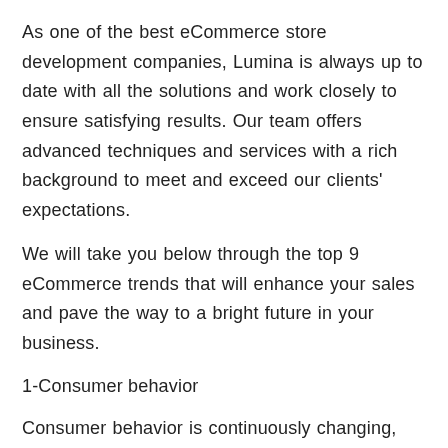As one of the best eCommerce store development companies, Lumina is always up to date with all the solutions and work closely to ensure satisfying results. Our team offers advanced techniques and services with a rich background to meet and exceed our clients' expectations.
We will take you below through the top 9 eCommerce trends that will enhance your sales and pave the way to a bright future in your business.
1-Consumer behavior
Consumer behavior is continuously changing, especially after coronavirus. Purchasing items that are of interest from the comfort of your home is a dream come true. People tend to spend money on housing items, and office equipment more than spending on traveling for example,